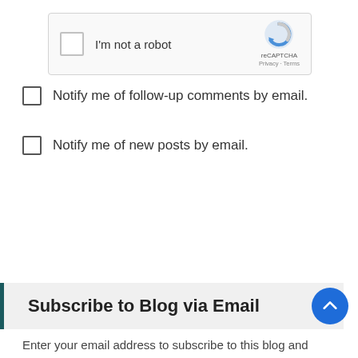[Figure (screenshot): reCAPTCHA widget with checkbox labeled 'I'm not a robot' and reCAPTCHA logo with Privacy and Terms links]
Notify me of follow-up comments by email.
Notify me of new posts by email.
Post Comment
Subscribe to Blog via Email
Enter your email address to subscribe to this blog and